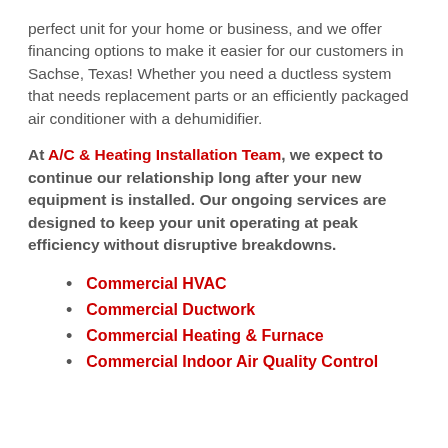perfect unit for your home or business, and we offer financing options to make it easier for our customers in Sachse, Texas! Whether you need a ductless system that needs replacement parts or an efficiently packaged air conditioner with a dehumidifier.
At A/C & Heating Installation Team, we expect to continue our relationship long after your new equipment is installed. Our ongoing services are designed to keep your unit operating at peak efficiency without disruptive breakdowns.
Commercial HVAC
Commercial Ductwork
Commercial Heating & Furnace
Commercial Indoor Air Quality Control